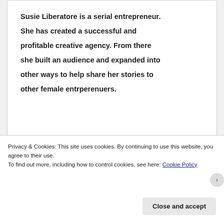Susie Liberatore is a serial entrepreneur. She has created a successful and profitable creative agency. From there she built an audience and expanded into other ways to help share her stories to other female entrperenuers.
LISTEN TO BRAND CLARITY PODCAST
Privacy & Cookies: This site uses cookies. By continuing to use this website, you agree to their use.
To find out more, including how to control cookies, see here: Cookie Policy